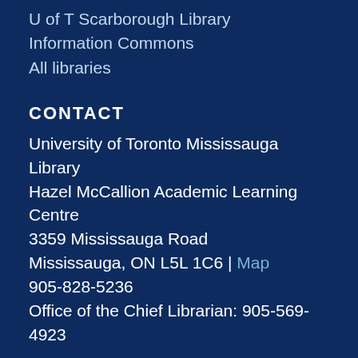U of T Scarborough Library
Information Commons
All libraries
CONTACT
University of Toronto Mississauga Library
Hazel McCallion Academic Learning Centre
3359 Mississauga Road
Mississauga, ON L5L 1C6 | Map
905-828-5236
Office of the Chief Librarian: 905-569-4923
About web accessibility. Tell us about a web accessibility issue.